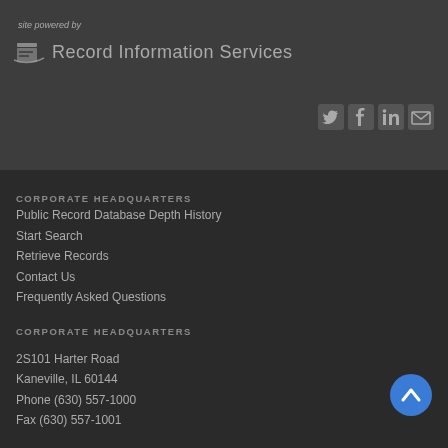site powered by
[Figure (logo): Record Information Services logo with document/paper icon]
[Figure (infographic): Social media icons: Twitter, Facebook, LinkedIn, Email]
CORPORATE HEADQUARTERS
Public Record Database Depth History
Start Search
Retrieve Records
Contact Us
Frequently Asked Questions
CORPORATE HEADQUARTERS
2S101 Harter Road
Kaneville, IL 60144
Phone (630) 557-1000
Fax (630) 557-1001